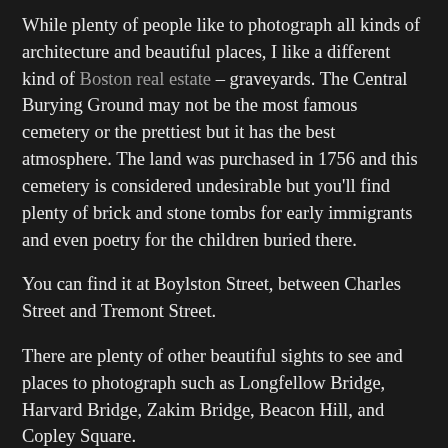While plenty of people like to photograph all kinds of architecture and beautiful places, I like a different kind of Boston real estate – graveyards. The Central Burying Ground may not be the most famous cemetery or the prettiest but it has the best atmosphere. The land was purchased in 1756 and this cemetery is considered undesirable but you'll find plenty of brick and stone tombs for early immigrants and even poetry for the children buried there.
You can find it at Boylston Street, between Charles Street and Tremont Street.
There are plenty of other beautiful sights to see and places to photograph such as Longfellow Bridge, Harvard Bridge, Zakim Bridge, Beacon Hill, and Copley Square.
No comments:
Share
Wednesday, April 11, 2018
FloraBloom Probiotics for Women
I was recently able to try out FloraBloom Probiotics for Women and I am very pleased with them. I need to take